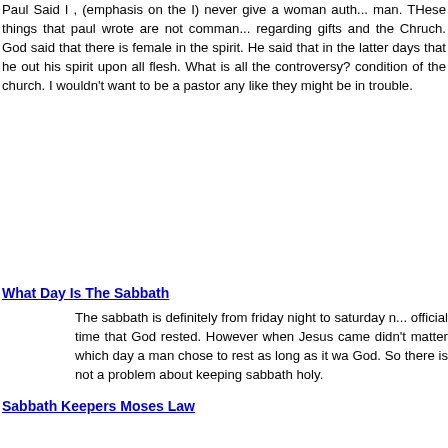Paul Said I , (emphasis on the I) never give a woman auth... man. THese things that paul wrote are not comman... regarding gifts and the Chruch. God said that there is ... female in the spirit. He said that in the latter days that he... out his spirit upon all flesh. What is all the controversy?... condition of the church. I wouldn't want to be a pastor any... like they might be in trouble.
What Day Is The Sabbath
The sabbath is definitely from friday night to saturday n... official time that God rested. However when Jesus came... didn't matter which day a man chose to rest as long as it wa... God. So there is not a problem about keeping sabbath holy.
Sabbath Keepers Moses Law
Sabbath Keepers are working their way to heaven and tha... what Jesus did for us on the cross. IT is against every... taught and resembles the pharisees and sadusees ... condemed to Hell. Those who were unfortunate enough t... into Helen White's lies, are Hell Bound and need to be lo... truth. I am afraid they are caged by satan.
Is the Prosperity Gospel Biblical
God did not mean for us to take the give and you shall recie... and milk it for all it was worth. Also He was referring to spir... as well."as your soul prospers". We were not meant to live...